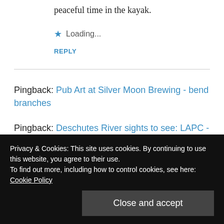peaceful time in the kayak.
★ Loading...
REPLY
Pingback: Pub Art at Silver Moon Brewing - bend branches
Pingback: Deschutes River sights to see: LAPC - bend branches
Privacy & Cookies: This site uses cookies. By continuing to use this website, you agree to their use.
To find out more, including how to control cookies, see here: Cookie Policy
Close and accept